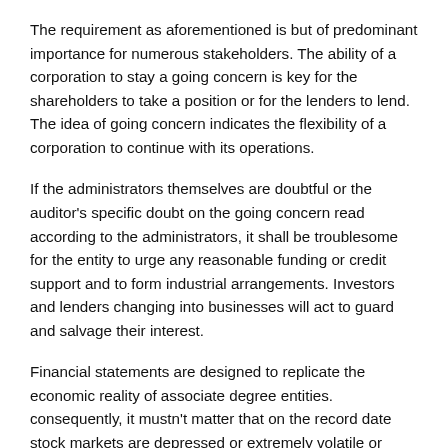The requirement as aforementioned is but of predominant importance for numerous stakeholders. The ability of a corporation to stay a going concern is key for the shareholders to take a position or for the lenders to lend. The idea of going concern indicates the flexibility of a corporation to continue with its operations.
If the administrators themselves are doubtful or the auditor's specific doubt on the going concern read according to the administrators, it shall be troublesome for the entity to urge any reasonable funding or credit support and to form industrial arrangements. Investors and lenders changing into businesses will act to guard and salvage their interest.
Financial statements are designed to replicate the economic reality of associate degree entities. consequently, it mustn't matter that on the record date stock markets are depressed or extremely volatile or there are uncertainties looming at giant on future operations.The monetary statements ought to fairly